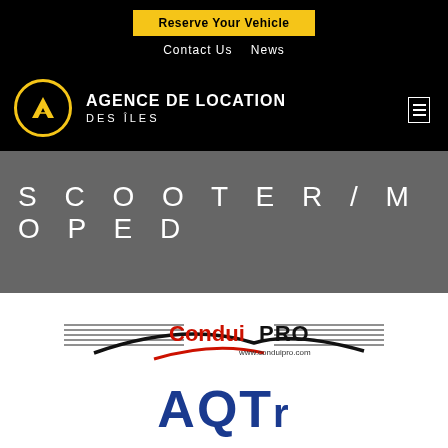Reserve Your Vehicle | Contact Us | News
AGENCE DE LOCATION DES ÎLES
SCOOTER/MOPED
[Figure (logo): ConduiPRO logo with horizontal lines and www.conduipro.com URL, followed by AQTR logo in blue]
ConduiPRO www.conduipro.com